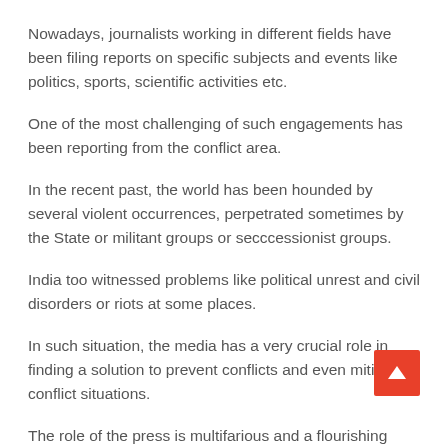Nowadays, journalists working in different fields have been filing reports on specific subjects and events like politics, sports, scientific activities etc.
One of the most challenging of such engagements has been reporting from the conflict area.
In the recent past, the world has been hounded by several violent occurrences, perpetrated sometimes by the State or militant groups or secccessionist groups.
India too witnessed problems like political unrest and civil disorders or riots at some places.
In such situation, the media has a very crucial role in finding a solution to prevent conflicts and even mitigate conflict situations.
The role of the press is multifarious and a flourishing